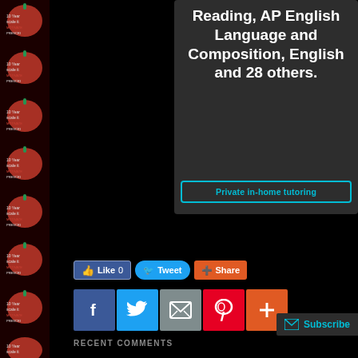[Figure (illustration): Left sidebar strip with repeating red apple images on dark background]
Reading, AP English Language and Composition, English and 28 others.
Private in-home tutoring
[Figure (infographic): Social sharing buttons row: Facebook Like 0, Tweet, Share]
[Figure (infographic): Social media icon buttons: Facebook, Twitter, Email, Pinterest, More (+)]
RECENT COMMENTS
Tricia on Place Value Part 4 — Multiplication
Michael Fridolin Mavoa on Rounding activities (whole numbers a...
Cindyelkins on Telling Time Part 3: Elapsed Time – Start and end...
360DigiTMG on Telling Time Part 3: Elapsed...
Cindy on Instructional Resources...